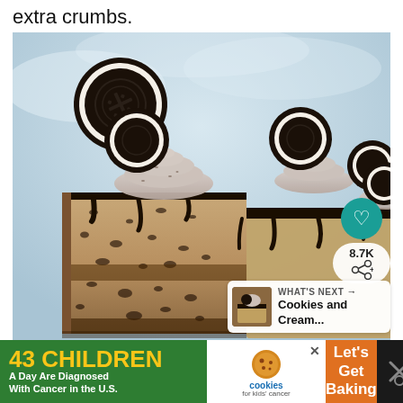extra crumbs.
[Figure (photo): Close-up photo of an Oreo cookies and cream layered cake with chocolate ganache drip, Oreo cookie garnishes on top, and cookies-and-cream frosting swirls. A slice is cut showing the layered interior with Oreo crumbles throughout.]
8.7K
WHAT'S NEXT → Cookies and Cream...
43 CHILDREN A Day Are Diagnosed With Cancer in the U.S.
cookies for kids' cancer
Let's Get Baking